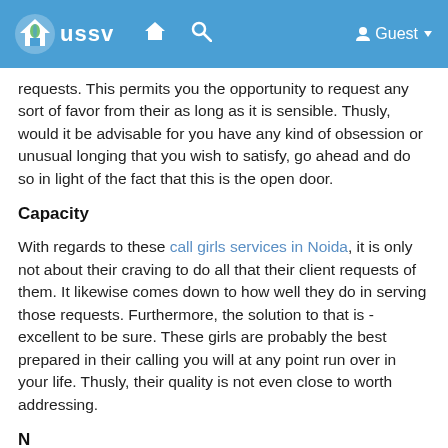USSV — Guest
requests. This permits you the opportunity to request any sort of favor from their as long as it is sensible. Thusly, would it be advisable for you have any kind of obsession or unusual longing that you wish to satisfy, go ahead and do so in light of the fact that this is the open door.
Capacity
With regards to these call girls services in Noida, it is only not about their craving to do all that their client requests of them. It likewise comes down to how well they do in serving those requests. Furthermore, the solution to that is - excellent to be sure. These girls are probably the best prepared in their calling you will at any point run over in your life. Thusly, their quality is not even close to worth addressing.